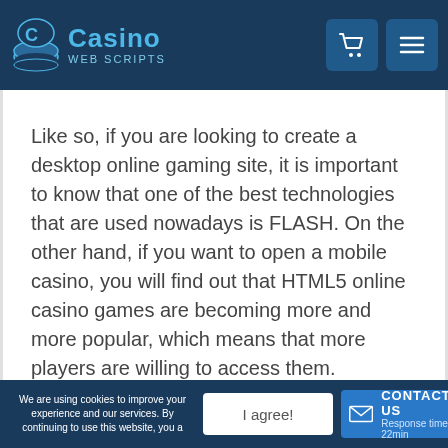Casino Web Scripts
Like so, if you are looking to create a desktop online gaming site, it is important to know that one of the best technologies that are used nowadays is FLASH. On the other hand, if you want to open a mobile casino, you will find out that HTML5 online casino games are becoming more and more popular, which means that more players are willing to access them.
We are using cookies to improve your experience and our services. By continuing to use this website, you agree | I agree! | CONTACT US Response time : 22min